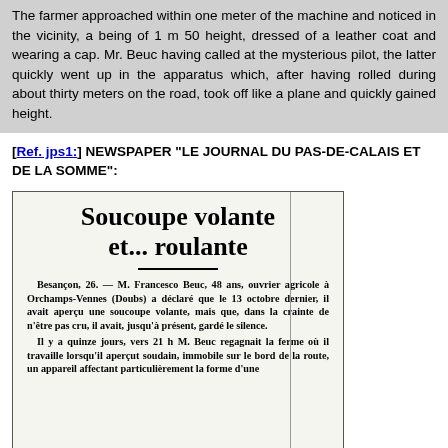The farmer approached within one meter of the machine and noticed in the vicinity, a being of 1 m 50 height, dressed of a leather coat and wearing a cap. Mr. Beuc having called at the mysterious pilot, the latter quickly went up in the apparatus which, after having rolled during about thirty meters on the road, took off like a plane and quickly gained height.
[Ref. jps1:] NEWSPAPER "LE JOURNAL DU PAS-DE-CALAIS ET DE LA SOMME":
[Figure (photo): Newspaper clipping image showing the headline 'Soucoupe volante et... roulante' with French text body describing a UFO sighting by M. Francesco Beuc near Orchamps-Vennes (Doubs). The article describes him seeing a flying saucer on October 13 and a subsequent sighting fifteen days later around 21h.]